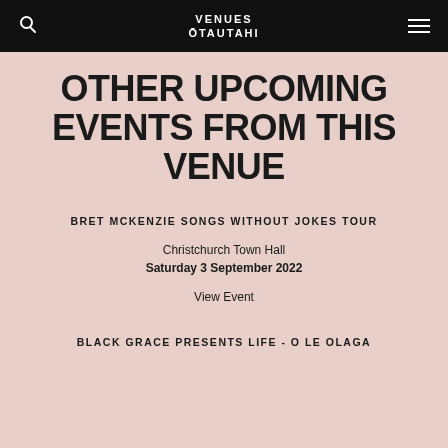VENUES ŌTAUTAHI
OTHER UPCOMING EVENTS FROM THIS VENUE
BRET MCKENZIE SONGS WITHOUT JOKES TOUR
Christchurch Town Hall
Saturday 3 September 2022
View Event
BLACK GRACE PRESENTS LIFE - O LE OLAGA